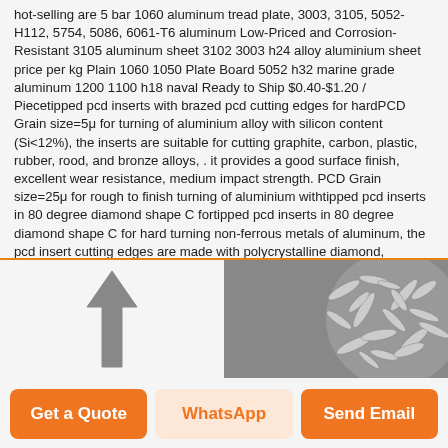hot-selling are 5 bar 1060 aluminum tread plate, 3003, 3105, 5052-H112, 5754, 5086, 6061-T6 aluminum Low-Priced and Corrosion-Resistant 3105 aluminum sheet 3102 3003 h24 alloy aluminium sheet price per kg Plain 1060 1050 Plate Board 5052 h32 marine grade aluminum 1200 1100 h18 naval Ready to Ship $0.40-$1.20 / Piecetipped pcd inserts with brazed pcd cutting edges for hardPCD Grain size=5μ for turning of aluminium alloy with silicon content (Si<12%), the inserts are suitable for cutting graphite, carbon, plastic, rubber, rood, and bronze alloys, . it provides a good surface finish, excellent wear resistance, medium impact strength. PCD Grain size=25μ for rough to finish turning of aluminium withtipped pcd inserts in 80 degree diamond shape C fortipped pcd inserts in 80 degree diamond shape C for hard turning non-ferrous metals of aluminum, the pcd insert cutting edges are made with polycrystalline diamond, indexable inserts with pcd working tips are precision cutting tools, which are used in cnc super fine finish machining, turning and milling automobile engine block, cylinder head, gearbox, cast aluminum alloy with
[Figure (photo): Left side: an upward-pointing arrow icon in gray. Right side: a close-up photo of metallic chips or shavings, likely aluminum alloy machining residue.]
Get a Quote
WhatsApp
Send Email